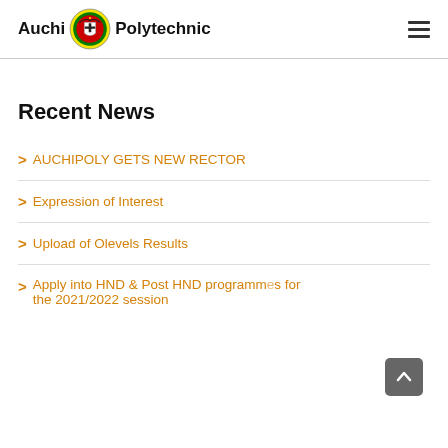Auchi Polytechnic
Recent News
AUCHIPOLY GETS NEW RECTOR
Expression of Interest
Upload of Olevels Results
Apply into HND & Post HND programmes for the 2021/2022 session